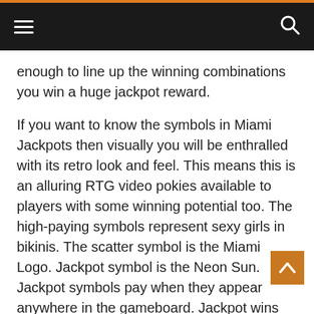≡  🔍
enough to line up the winning combinations you win a huge jackpot reward.
If you want to know the symbols in Miami Jackpots then visually you will be enthralled with its retro look and feel. This means this is an alluring RTG video pokies available to players with some winning potential too. The high-paying symbols represent sexy girls in bikinis. The scatter symbol is the Miami Logo. Jackpot symbol is the Neon Sun. Jackpot symbols pay when they appear anywhere in the gameboard. Jackpot wins are first multiplied by total bet and then added to line wins.
Features in Miami Jackpots